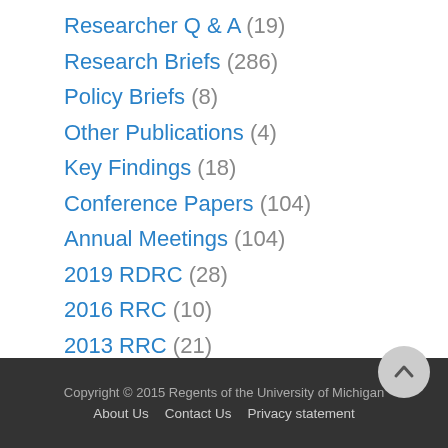Researcher Q & A (19)
Research Briefs (286)
Policy Briefs (8)
Other Publications (4)
Key Findings (18)
Conference Papers (104)
Annual Meetings (104)
2019 RDRC (28)
2016 RRC (10)
2013 RRC (21)
2010 RRC (22)
2007 RRC (23)
Copyright © 2015 Regents of the University of Michigan   About Us   Contact Us   Privacy statement